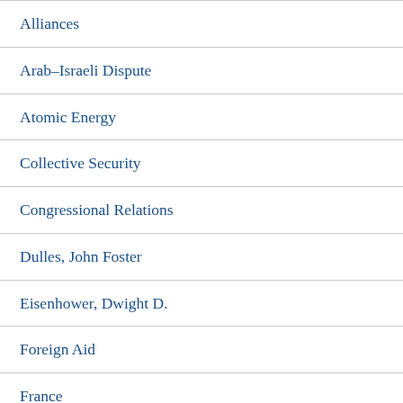Alliances
Arab–Israeli Dispute
Atomic Energy
Collective Security
Congressional Relations
Dulles, John Foster
Eisenhower, Dwight D.
Foreign Aid
France
Iceland
Military Bases